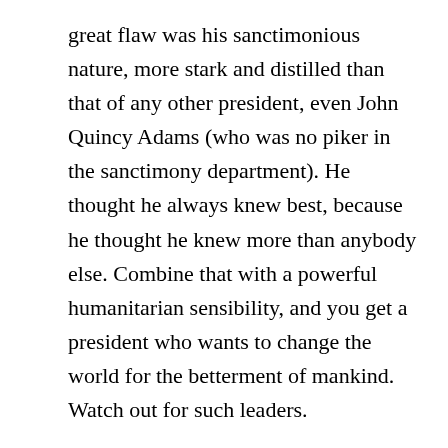great flaw was his sanctimonious nature, more stark and distilled than that of any other president, even John Quincy Adams (who was no piker in the sanctimony department). He thought he always knew best, because he thought he knew more than anybody else. Combine that with a powerful humanitarian sensibility, and you get a president who wants to change the world for the betterment of mankind. Watch out for such leaders.
Even during his first term, with war raging in Europe, he sought to get the United States involved as a neutral mediator, fostering a peace agreement to break the tragic stalemate that had